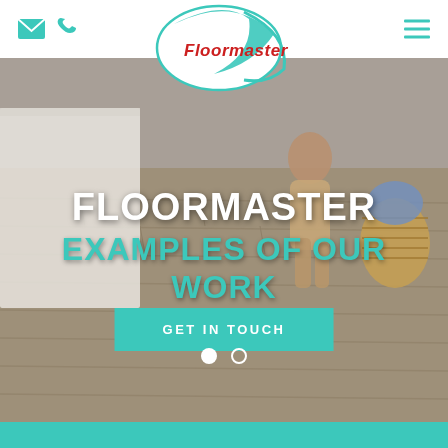Floormaster website header with email, phone and menu icons
[Figure (logo): Floormaster oval logo with teal swoosh and red brand name text]
[Figure (photo): Interior room photo showing light wood laminate floor with a white cabinet and a person laying flooring near a wicker basket]
FLOORMASTER
EXAMPLES OF OUR WORK
GET IN TOUCH